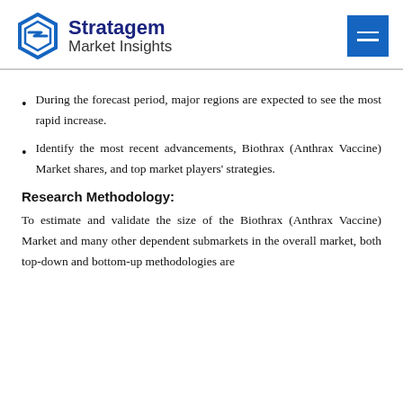Stratagem Market Insights
During the forecast period, major regions are expected to see the most rapid increase.
Identify the most recent advancements, Biothrax (Anthrax Vaccine) Market shares, and top market players' strategies.
Research Methodology:
To estimate and validate the size of the Biothrax (Anthrax Vaccine) Market and many other dependent submarkets in the overall market, both top-down and bottom-up methodologies are